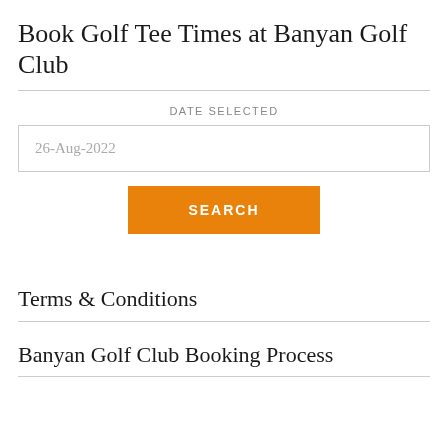Book Golf Tee Times at Banyan Golf Club
DATE SELECTED
26-Aug-2022
SEARCH
Terms & Conditions
Banyan Golf Club Booking Process